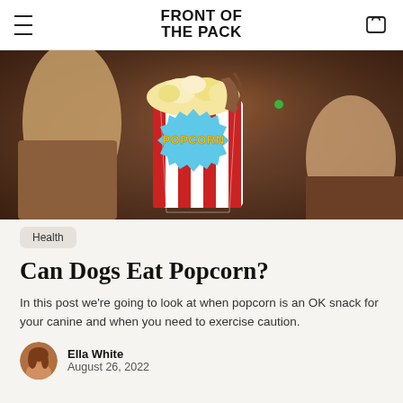FRONT OF THE PACK
[Figure (photo): People at a movie theater sharing popcorn from a large red and white striped popcorn bucket with a comic-style 'POPCORN' label.]
Health
Can Dogs Eat Popcorn?
In this post we're going to look at when popcorn is an OK snack for your canine and when you need to exercise caution.
Ella White
August 26, 2022